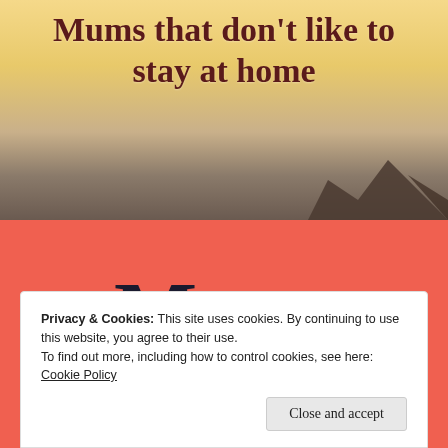Mums that don't like to stay at home
Menu
Privacy & Cookies: This site uses cookies. By continuing to use this website, you agree to their use.
To find out more, including how to control cookies, see here: Cookie Policy
Close and accept